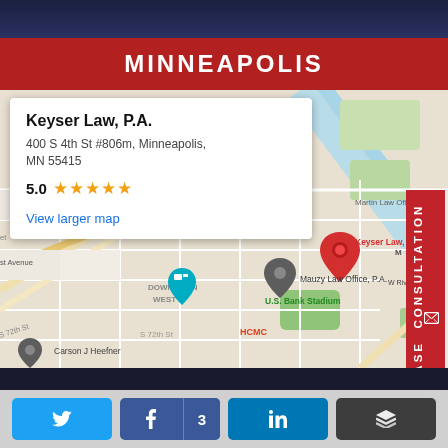MINNEAPOLIS
[Figure (map): Google Maps screenshot showing Central Minneapolis area with Keyser Law P.A. location pin marked in red, along with other law office markers (Martin Law Offices, Mauzy Law Office P.A., Carson J Heefner). Map shows CENTRAL MINNEAPOLIS, DOWNTOWN WEST, U.S. Bank Stadium, HCMC, and surrounding street grid.]
Keyser Law, P.A.
400 S 4th St #806m, Minneapolis, MN 55415
5.0 ★★★★★
View larger map
FREE CASE CONSULTATION
[Figure (other): Social sharing buttons row: Twitter (blue bird icon), Facebook with count of 3, LinkedIn, Buffer (layers icon)]